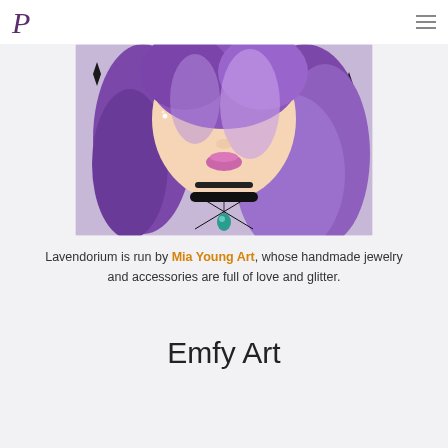P [logo] | hamburger menu
[Figure (illustration): Digital illustration of a girl with long purple/lavender hair, wearing a black choker necklace and a black top with a teal gem pendant. Background is light lavender with black diamond sparkle shapes.]
Lavendorium is run by Mia Young Art, whose handmade jewelry and accessories are full of love and glitter.
Emfy Art